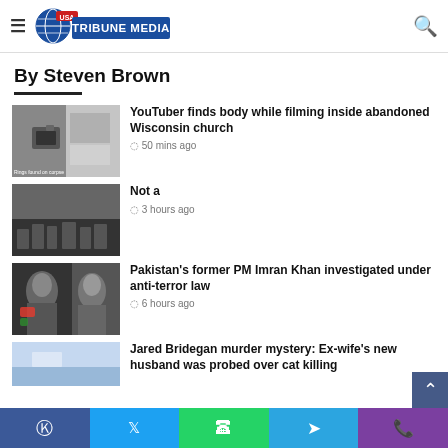USA Tribune Media
By Steven Brown
[Figure (photo): Thumbnail image of camera/abandoned building for YouTuber article]
YouTuber finds body while filming inside abandoned Wisconsin church
50 mins ago
[Figure (photo): Black and white crowd photo for Not a article]
Not a
3 hours ago
[Figure (photo): Photo of Imran Khan for Pakistan PM article]
Pakistan's former PM Imran Khan investigated under anti-terror law
6 hours ago
[Figure (photo): Thumbnail for Jared Bridegan article]
Jared Bridegan murder mystery: Ex-wife's new husband was probed over cat killing
Facebook Twitter WhatsApp Telegram Phone